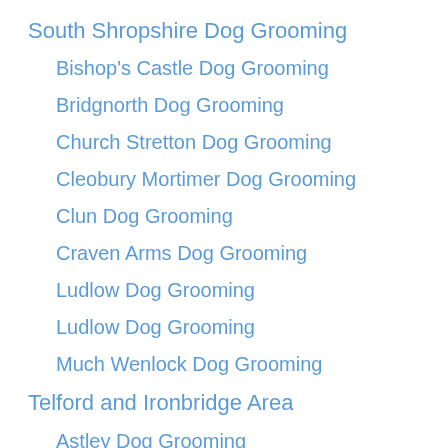South Shropshire Dog Grooming
Bishop's Castle Dog Grooming
Bridgnorth Dog Grooming
Church Stretton Dog Grooming
Cleobury Mortimer Dog Grooming
Clun Dog Grooming
Craven Arms Dog Grooming
Ludlow Dog Grooming
Ludlow Dog Grooming
Much Wenlock Dog Grooming
Telford and Ironbridge Area
Astley Dog Grooming
Broseley Dog Grooming
Condlew...